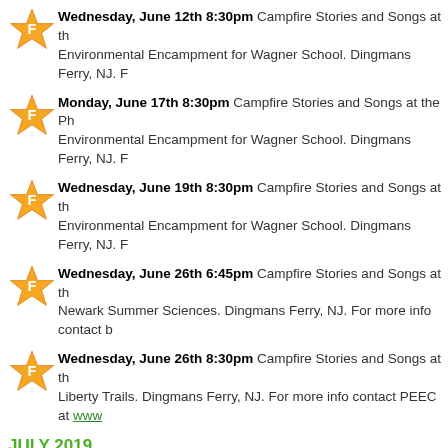Wednesday, June 12th 8:30pm Campfire Stories and Songs at the Environmental Encampment for Wagner School. Dingmans Ferry, NJ. F
Monday, June 17th 8:30pm Campfire Stories and Songs at the Ph Environmental Encampment for Wagner School. Dingmans Ferry, NJ. F
Wednesday, June 19th 8:30pm Campfire Stories and Songs at th Environmental Encampment for Wagner School. Dingmans Ferry, NJ. F
Wednesday, June 26th 6:45pm Campfire Stories and Songs at th Newark Summer Sciences. Dingmans Ferry, NJ. For more info contact b
Wednesday, June 26th 8:30pm Campfire Stories and Songs at th Liberty Trails. Dingmans Ferry, NJ. For more info contact PEEC at www
JULY 2019
Saturday, July 6th 7:30p Environmental Education Cent more info contact PEEC at ww